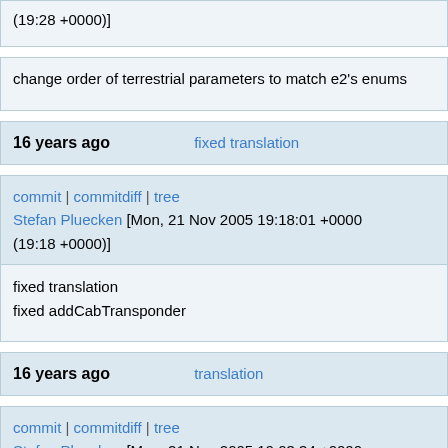(19:28 +0000)]
change order of terrestrial parameters to match e2's enums
16 years ago   fixed translation
commit | commitdiff | tree
Stefan Pluecken [Mon, 21 Nov 2005 19:18:01 +0000 (19:18 +0000)]
fixed translation
fixed addCabTransponder
16 years ago   translation
commit | commitdiff | tree
Stefan Pluecken [Mon, 21 Nov 2005 19:03:34 +0000 (19:03 +0000)]